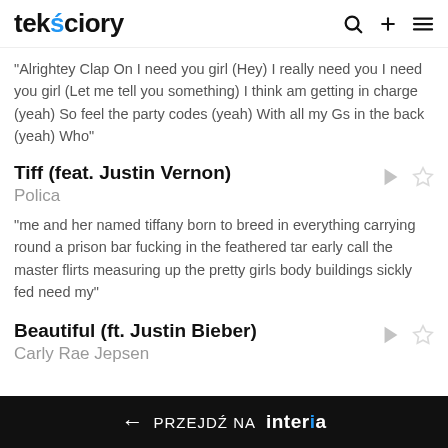tekściory
"Alrightey Clap On I need you girl (Hey) I really need you I need you girl (Let me tell you something) I think am getting in charge (yeah) So feel the party codes (yeah) With all my Gs in the back (yeah) Who"
Tiff (feat. Justin Vernon)
Polica
"me and her named tiffany born to breed in everything carrying round a prison bar fucking in the feathered tar early call the master flirts measuring up the pretty girls body buildings sickly fed need my"
Beautiful (ft. Justin Bieber)
Carly Rae Jepsen
← PRZEJDŹ NA interia